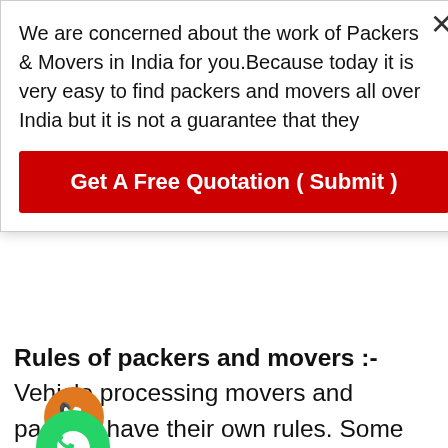We are concerned about the work of Packers & Movers in India for you.Because today it is very easy to find packers and movers all over India but it is not a guarantee that they
Get A Free Quotation ( Submit )
Rules of packers and movers :-Vehicle processing movers and packers have their own rules. Some movers and packers carry your household items quickly, but heavy iron wood, soil, gravel, or other items. Do not take it. You must see what kind of packers and movers you hire for your work. Then also, keep in mind what your goods are and what kind of packers and movers this resource can provide.
Packing and loading :-Packers and movers in Ghaziabad do not pay special attention to the packaging and loading quality of domestic